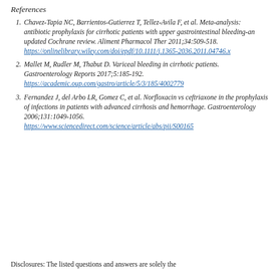References
Chavez-Tapia NC, Barrientos-Gutierrez T, Tellez-Avila F, et al. Meta-analysis: antibiotic prophylaxis for cirrhotic patients with upper gastrointestinal bleeding-an updated Cochrane review. Aliment Pharmacol Ther 2011;34:509-518. https://onlinelibrary.wiley.com/doi/epdf/10.1111/j.1365-2036.2011.04746.x
Mallet M, Rudler M, Thabut D. Variceal bleeding in cirrhotic patients. Gastroenterology Reports 2017;5:185-192. https://academic.oup.com/gastro/article/5/3/185/4002779
Fernandez J, del Arbo LR, Gomez C, et al. Norfloxacin vs ceftriaxone in the prophylaxis of infections in patients with advanced cirrhosis and hemorrhage. Gastroenterology 2006;131:1049-1056. https://www.sciencedirect.com/science/article/abs/pii/S00165
Disclosures: The listed questions and answers are solely the